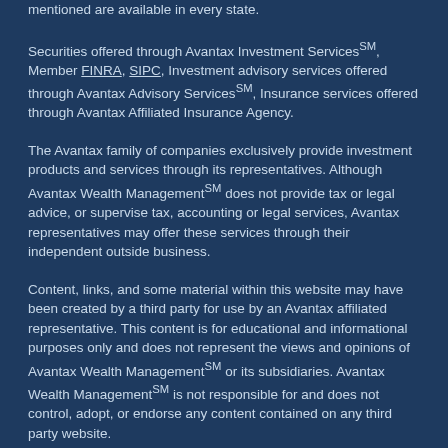mentioned are available in every state.
Securities offered through Avantax Investment ServicesSM, Member FINRA, SIPC, Investment advisory services offered through Avantax Advisory ServicesSM, Insurance services offered through Avantax Affiliated Insurance Agency.
The Avantax family of companies exclusively provide investment products and services through its representatives. Although Avantax Wealth ManagementSM does not provide tax or legal advice, or supervise tax, accounting or legal services, Avantax representatives may offer these services through their independent outside business.
Content, links, and some material within this website may have been created by a third party for use by an Avantax affiliated representative. This content is for educational and informational purposes only and does not represent the views and opinions of Avantax Wealth ManagementSM or its subsidiaries. Avantax Wealth ManagementSM is not responsible for and does not control, adopt, or endorse any content contained on any third party website.
This information is not intended as tax or legal advice. Please